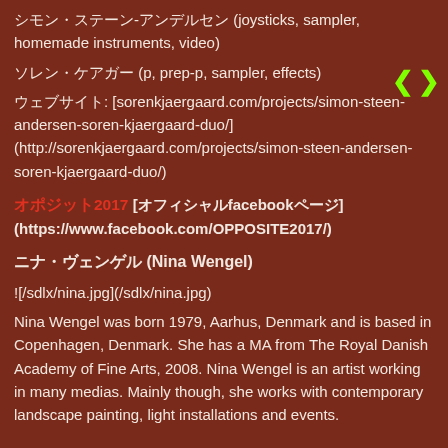シモン・ステーン-アンデルセン (joysticks, sampler, homemade instruments, video)
ソレン・ケアガー (p, prep-p, sampler, effects)
ウェブサイト: [sorenkjaergaard.com/projects/simon-steen-andersen-soren-kjaergaard-duo/] (http://sorenkjaergaard.com/projects/simon-steen-andersen-soren-kjaergaard-duo/)
オポジット2017 [オフィシャルfacebookページ] (https://www.facebook.com/OPPOSITE2017/)
ニナ・ヴェンゲル (Nina Wengel)
![/sdlx/nina.jpg](/sdlx/nina.jpg)
Nina Wengel was born 1979, Aarhus, Denmark and is based in Copenhagen, Denmark. She has a MA from The Royal Danish Academy of Fine Arts, 2008. Nina Wengel is an artist working in many medias. Mainly though, she works with contemporary landscape painting, light installations and events.